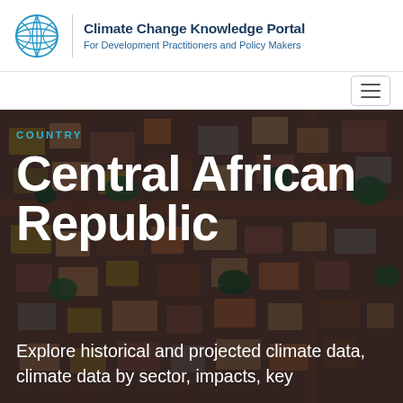[Figure (logo): World Bank Climate Change Knowledge Portal globe logo with blue wireframe design]
Climate Change Knowledge Portal
For Development Practitioners and Policy Makers
[Figure (photo): Aerial photograph of a dense residential settlement in Central African Republic, showing rooftops, trees, and red dirt paths from above, with a dark overlay]
COUNTRY
Central African Republic
Explore historical and projected climate data, climate data by sector, impacts, key